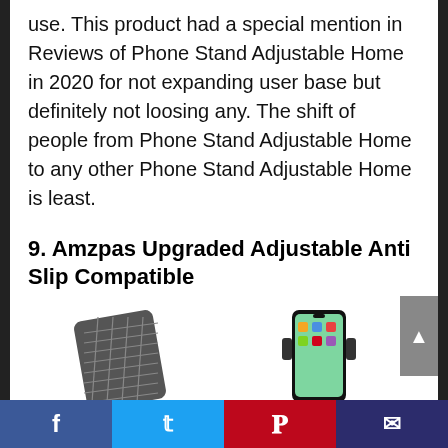use. This product had a special mention in Reviews of Phone Stand Adjustable Home in 2020 for not expanding user base but definitely not loosing any. The shift of people from Phone Stand Adjustable Home to any other Phone Stand Adjustable Home is least.
9. Amzpas Upgraded Adjustable Anti Slip Compatible
[Figure (photo): Product images showing two phone stands - one flat grid-like stand on left and one phone mount with device on right]
Social share bar with Facebook, Twitter, Pinterest, and Email buttons